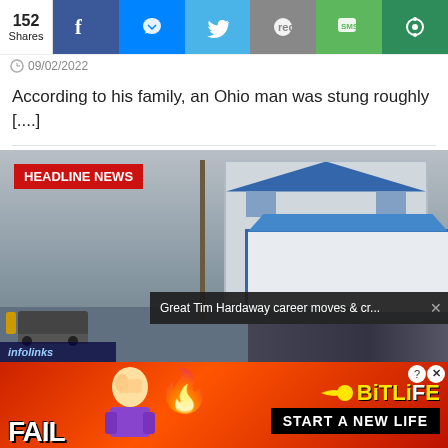152 Shares | Social share bar: Facebook, Messenger, Twitter, Reddit, SMS, Copy
09/02/2022
According to his family, an Ohio man was stung roughly [...]
[Figure (photo): News video still showing flooded road with truck, blue-roofed building, HEADLINE NEWS badge overlay, infolinks bar, Tim Hardaway popup overlay and sub-video thumbnail]
[Figure (advertisement): BitLife advertisement banner with FAIL text, flame emoji, character illustration, BitLife logo, and START A NEW LIFE button]